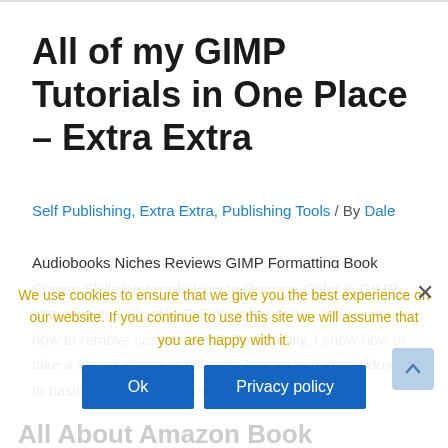All of my GIMP Tutorials in One Place – Extra Extra
Self Publishing, Extra Extra, Publishing Tools / By Dale
Audiobooks Niches Reviews GIMP Formatting Book Covers Skills Keywords How to Remove Color in GIMP https://youtu.be/i_nfN9CrEQQ In this video, I show you how to remove color in GIMP. Specifically, I show how to take a vector image or full-color line art and strip it down to basic line art with no color. How to Use …
We use cookies to ensure that we give you the best experience on our website. If you continue to use this site we will assume that you are happy with it.
Ok
Privacy policy
All About Amazon Book